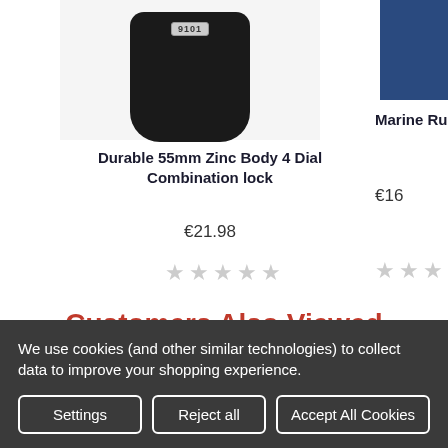[Figure (photo): Black combination lock with dial showing '9101', cropped at bottom of product card]
Durable 55mm Zinc Body 4 Dial Combination lock
€21.98
[Figure (photo): Navy blue product (partially cropped) on the right side]
Marine Rustproof 5
€16
Customers Also Viewed
[Figure (photo): Product image on light background for 'Customers Also Viewed' section]
[Figure (photo): Product image with pink SALE ribbon in top-right corner]
We use cookies (and other similar technologies) to collect data to improve your shopping experience.
Settings
Reject all
Accept All Cookies